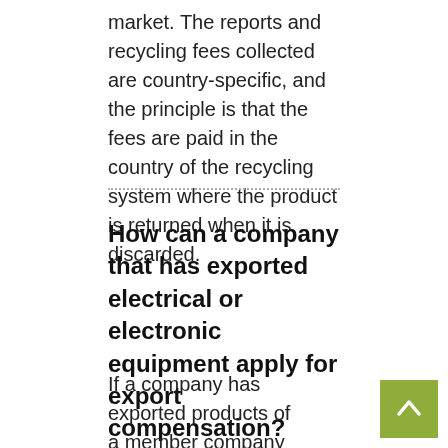market. The reports and recycling fees collected are country-specific, and the principle is that the fees are paid in the country of the recycling system where the product is returned when it is discarded.
How can a company that has exported electrical or electronic equipment apply for export compensation?
If a company has exported products of a member company of Elker Group's producer organisation, products that the member